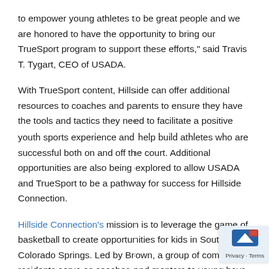to empower young athletes to be great people and we are honored to have the opportunity to bring our TrueSport program to support these efforts," said Travis T. Tygart, CEO of USADA.
With TrueSport content, Hillside can offer additional resources to coaches and parents to ensure they have the tools and tactics they need to facilitate a positive youth sports experience and help build athletes who are successful both on and off the court. Additional opportunities are also being explored to allow USADA and TrueSport to be a pathway for success for Hillside Connection.
Hillside Connection's mission is to leverage the game of basketball to create opportunities for kids in Southern Colorado Springs. Led by Brown, a group of community residents serve as coaches and mentors to young boys and girls who are brought together to participate in basketball clinics, enrichment and leadership activities, community engagement, basketball leagues, and family